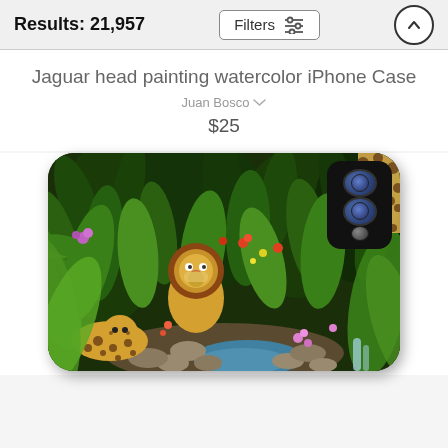Results: 21,957
Filters
Jaguar head painting watercolor iPhone Case
Juan Bosco
$25
[Figure (photo): An iPhone case featuring a detailed painting of a jungle scene with a lion in the center, a jaguar/leopard in the lower left, lush tropical greenery, colorful flowers, rocks, and a stream. The phone case has a dark camera module visible on the upper right side.]